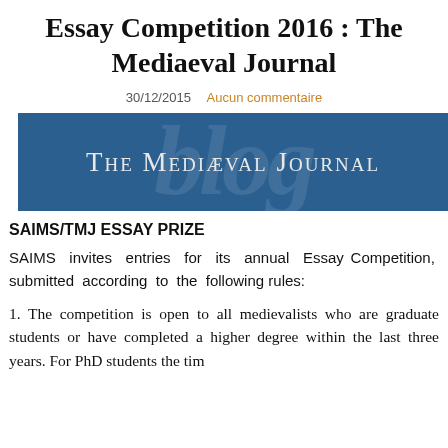Essay Competition 2016 : The Mediaeval Journal
30/12/2015   Aucun commentaire
[Figure (logo): The Mediaeval Journal banner with dark blue background and small-caps white text]
SAIMS/TMJ ESSAY PRIZE
SAIMS invites entries for its annual Essay Competition, submitted according to the following rules:
1. The competition is open to all medievalists who are graduate students or have completed a higher degree within the last three years. For PhD students the tim